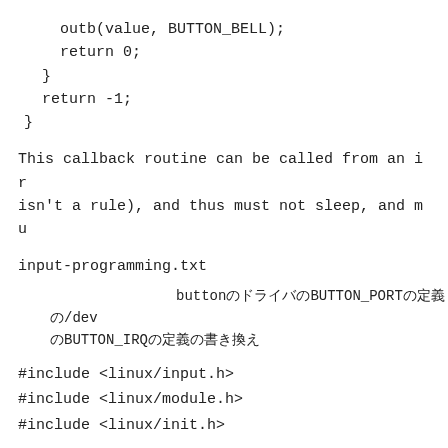outb(value, BUTTON_BELL);
    return 0;
  }
  return -1;
}
This callback routine can be called from an ir
isn't a rule), and thus must not sleep, and mu
input-programming.txt
buttonのドライバのBUTTON_PORTの定義の/dev
のBUTTON_IRQの定義の書き換え
#include <linux/input.h>
#include <linux/module.h>
#include <linux/init.h>